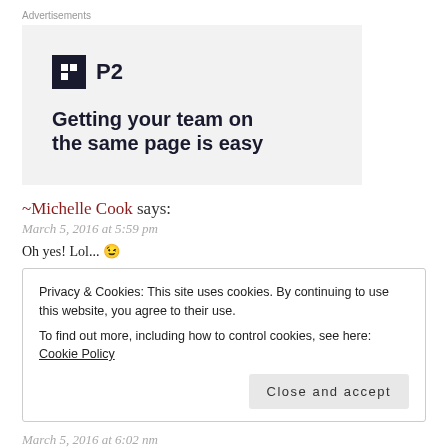Advertisements
[Figure (other): Advertisement banner for P2 product. Shows P2 logo (dark square with letter P2) and headline text 'Getting your team on the same page is easy']
~Michelle Cook says:
March 5, 2016 at 5:59 pm
Oh yes! Lol... 😉
Privacy & Cookies: This site uses cookies. By continuing to use this website, you agree to their use. To find out more, including how to control cookies, see here: Cookie Policy
Close and accept
March 5, 2016 at 6:02 nm